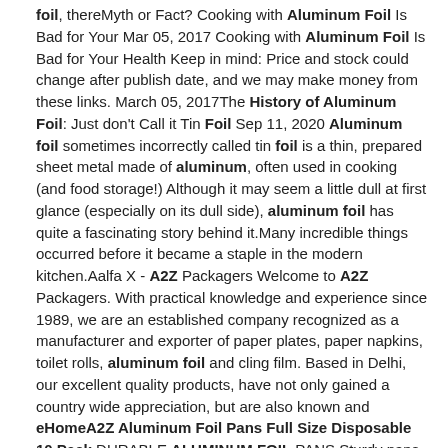foil, thereMyth or Fact? Cooking with Aluminum Foil Is Bad for Your Mar 05, 2017 Cooking with Aluminum Foil Is Bad for Your Health Keep in mind: Price and stock could change after publish date, and we may make money from these links. March 05, 2017The History of Aluminum Foil: Just don't Call it Tin Foil Sep 11, 2020 Aluminum foil sometimes incorrectly called tin foil is a thin, prepared sheet metal made of aluminum, often used in cooking (and food storage!) Although it may seem a little dull at first glance (especially on its dull side), aluminum foil has quite a fascinating story behind it.Many incredible things occurred before it became a staple in the modern kitchen.Aalfa X - A2Z Packagers Welcome to A2Z Packagers. With practical knowledge and experience since 1989, we are an established company recognized as a manufacturer and exporter of paper plates, paper napkins, toilet rolls, aluminum foil and cling film. Based in Delhi, our excellent quality products, have not only gained a country wide appreciation, but are also known and eHomeA2Z Aluminum Foil Pans Full Size Disposable 10 Pack DURABLE ALUMINUM FOIL PANS Sturdy pans, great for cooking, roasting or heating in the oven and serving straight to the table.